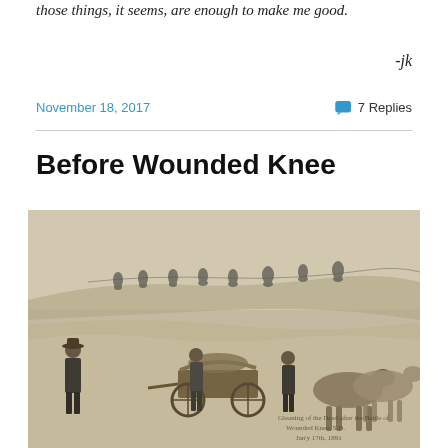those things, it seems, are enough to make me good.
-jk
November 18, 2017   7 Replies
Before Wounded Knee
[Figure (photo): Historical black and white photograph showing men with horse-drawn wagons and horses on a snowy or sandy landscape, with riders on horseback visible along a ridge in the background. Caption at bottom right references Wounded Knee, S.D.]